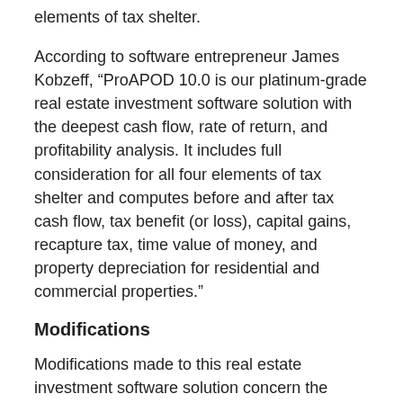elements of tax shelter.
According to software entrepreneur James Kobzeff, “ProAPOD 10.0 is our platinum-grade real estate investment software solution with the deepest cash flow, rate of return, and profitability analysis. It includes full consideration for all four elements of tax shelter and computes before and after tax cash flow, tax benefit (or loss), capital gains, recapture tax, time value of money, and property depreciation for residential and commercial properties.”
Modifications
Modifications made to this real estate investment software solution concern the FlashForm tool. This is the tool included only in ProAPOD® 10.0 that enables users to quickly determine rates of return without having to manually fill in the forms. It is an effective way to compare various properties very quickly.